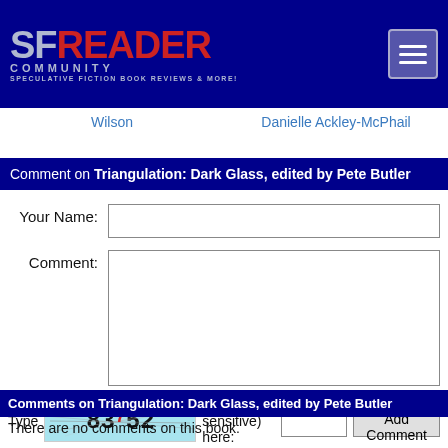[Figure (logo): SF Reader Community logo — speculative fiction book reviews & more — on dark blue background with hamburger menu button]
Wilson
Danielle Ackley-McPhail
Comment on Triangulation: Dark Glass, edited by Pete Butler
Your Name:
Comment:
Type 83752 (case sensitive) here:
Comments on Triangulation: Dark Glass, edited by Pete Butler
There are no comments on this book.